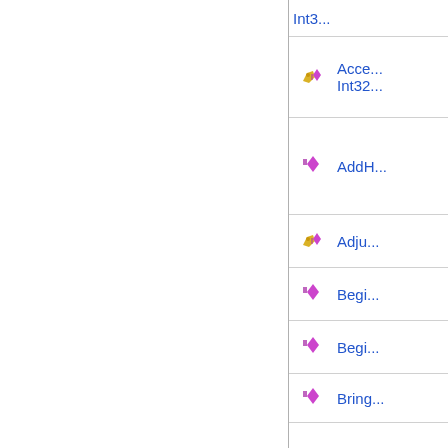Int3...
Acce... Int32...
AddH...
Adju...
Begi...
Begi...
Bring...
Clea...
Cont...